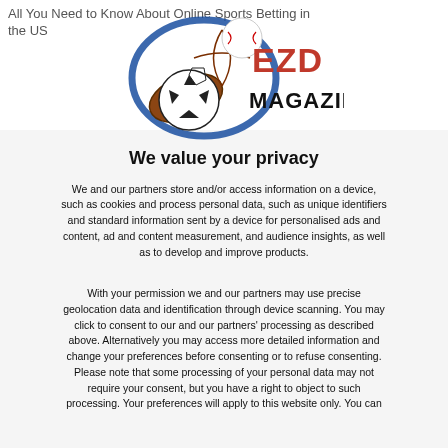All You Need to Know About Online Sports Betting in the US
[Figure (logo): EZD Magazine logo with sports balls (basketball, baseball, football, soccer ball) and text 'EZD MAGAZINE']
We value your privacy
We and our partners store and/or access information on a device, such as cookies and process personal data, such as unique identifiers and standard information sent by a device for personalised ads and content, ad and content measurement, and audience insights, as well as to develop and improve products.
With your permission we and our partners may use precise geolocation data and identification through device scanning. You may click to consent to our and our partners' processing as described above. Alternatively you may access more detailed information and change your preferences before consenting or to refuse consenting. Please note that some processing of your personal data may not require your consent, but you have a right to object to such processing. Your preferences will apply to this website only. You can